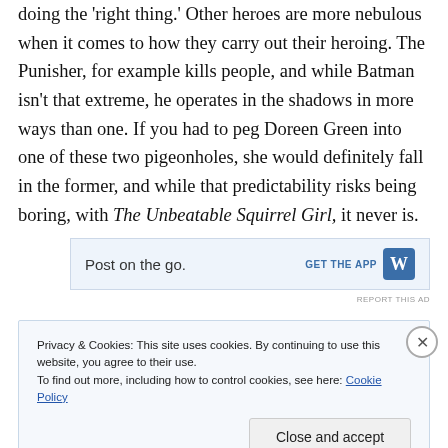doing the 'right thing.' Other heroes are more nebulous when it comes to how they carry out their heroing. The Punisher, for example kills people, and while Batman isn't that extreme, he operates in the shadows in more ways than one. If you had to peg Doreen Green into one of these two pigeonholes, she would definitely fall in the former, and while that predictability risks being boring, with The Unbeatable Squirrel Girl, it never is.
[Figure (other): Advertisement banner: 'Post on the go.' with GET THE APP link and WordPress W logo]
REPORT THIS AD
Privacy & Cookies: This site uses cookies. By continuing to use this website, you agree to their use. To find out more, including how to control cookies, see here: Cookie Policy
Close and accept